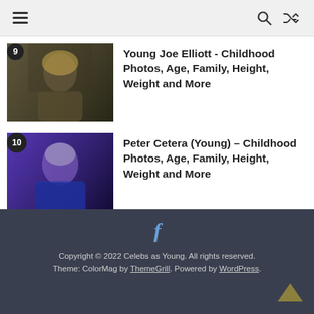Navigation header with hamburger menu, search and shuffle icons
9 - Young Joe Elliott - Childhood Photos, Age, Family, Height, Weight and More
10 - Peter Cetera (Young) – Childhood Photos, Age, Family, Height, Weight and More
Copyright © 2022 Celebs as Young. All rights reserved. Theme: ColorMag by ThemeGrill. Powered by WordPress.